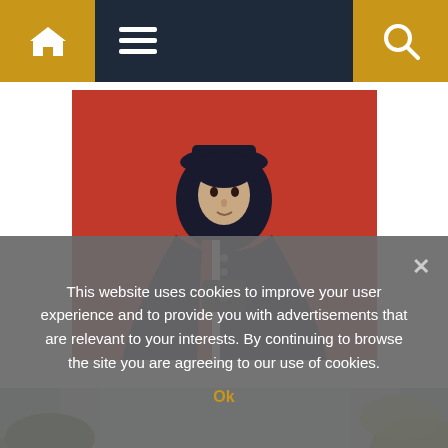[Figure (other): Navigation bar with home icon (gold background), hamburger menu icon, and search icon (gold background) on dark navy background]
[Figure (photo): A woman wearing a dark cape/cloak and hat, holding a camera, standing against a red background]
[Figure (photo): An elderly man with glasses and white beard surrounded by green and yellow leafy plants]
This website uses cookies to improve your user experience and to provide you with advertisements that are relevant to your interests. By continuing to browse the site you are agreeing to our use of cookies.
Ok